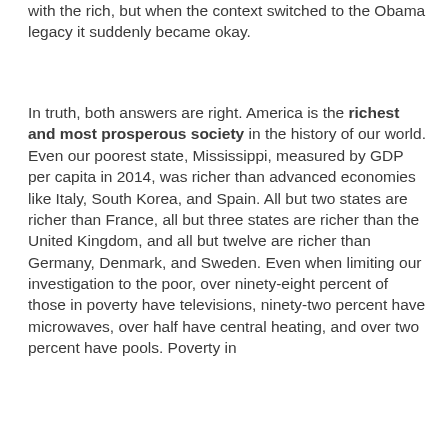with the rich, but when the context switched to the Obama legacy it suddenly became okay.
In truth, both answers are right. America is the richest and most prosperous society in the history of our world. Even our poorest state, Mississippi, measured by GDP per capita in 2014, was richer than advanced economies like Italy, South Korea, and Spain. All but two states are richer than France, all but three states are richer than the United Kingdom, and all but twelve are richer than Germany, Denmark, and Sweden. Even when limiting our investigation to the poor, over ninety-eight percent of those in poverty have televisions, ninety-two percent have microwaves, over half have central heating, and over two percent have pools. Poverty in